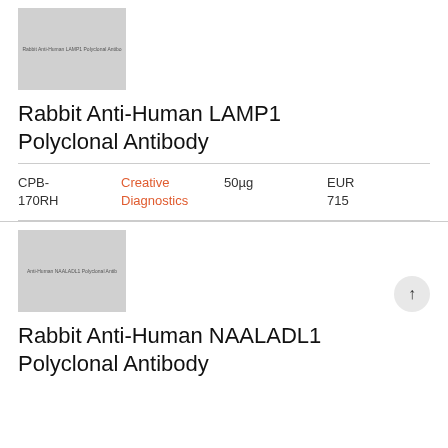[Figure (photo): Thumbnail image placeholder for Rabbit Anti-Human LAMP1 Polyclonal Antibody product]
Rabbit Anti-Human LAMP1 Polyclonal Antibody
| Code | Brand | Size | Price |
| --- | --- | --- | --- |
| CPB-170RH | Creative Diagnostics | 50µg | EUR 715 |
[Figure (photo): Thumbnail image placeholder for Rabbit Anti-Human NAALADL1 Polyclonal Antibody product]
Rabbit Anti-Human NAALADL1 Polyclonal Antibody